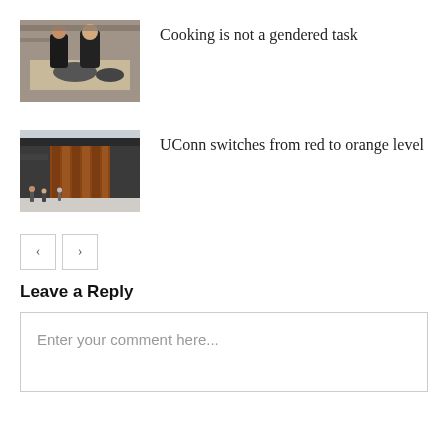[Figure (photo): Two people cooking in a kitchen, black clothing, pans on counter]
Cooking is not a gendered task
[Figure (photo): Modern building exterior with red/brown wooden panels, people walking outside]
UConn switches from red to orange level
Leave a Reply
Enter your comment here...